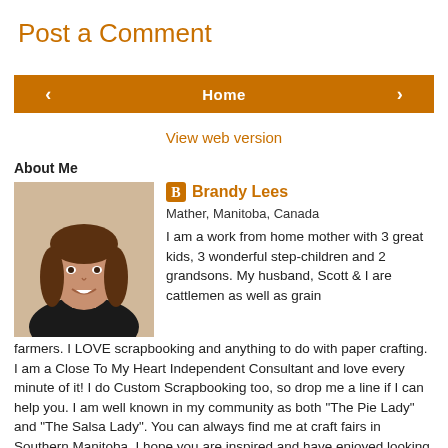Post a Comment
< Home >
View web version
About Me
[Figure (photo): Profile photo of Brandy Lees, a woman with brown hair, smiling, wearing a dark blazer]
Brandy Lees
Mather, Manitoba, Canada
I am a work from home mother with 3 great kids, 3 wonderful step-children and 2 grandsons. My husband, Scott & I are cattlemen as well as grain farmers. I LOVE scrapbooking and anything to do with paper crafting. I am a Close To My Heart Independent Consultant and love every minute of it! I do Custom Scrapbooking too, so drop me a line if I can help you. I am well known in my community as both "The Pie Lady" and "The Salsa Lady". You can always find me at craft fairs in Southern Manitoba. I hope you are inspired and have enjoyed looking at my artwork.